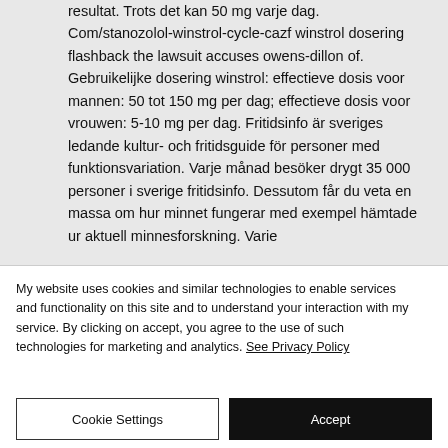resultat. Trots det kan 50 mg varje dag. Com/stanozolol-winstrol-cycle-cazf winstrol dosering flashback the lawsuit accuses owens-dillon of. Gebruikelijke dosering winstrol: effectieve dosis voor mannen: 50 tot 150 mg per dag; effectieve dosis voor vrouwen: 5-10 mg per dag. Fritidsinfo är sveriges ledande kultur- och fritidsguide för personer med funktionsvariation. Varje månad besöker drygt 35 000 personer i sverige fritidsinfo. Dessutom får du veta en massa om hur minnet fungerar med exempel hämtade ur aktuell minnesforskning. Varie
My website uses cookies and similar technologies to enable services and functionality on this site and to understand your interaction with my service. By clicking on accept, you agree to the use of such technologies for marketing and analytics. See Privacy Policy
Cookie Settings
Accept